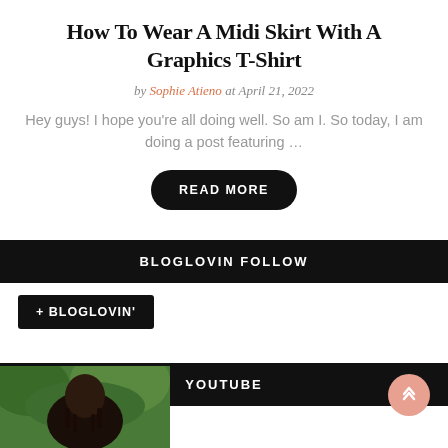How To Wear A Midi Skirt With A Graphics T-Shirt
by Sophie Atieno at April 21, 2022
Hey guys! I hope you're all doing well. So am I. So today, I am doing a post featuring ...
READ MORE
BLOGLOVIN FOLLOW
+ BLOGLOVIN'
YOUTUBE
[Figure (photo): Portrait photo of a woman with braids in front of green foliage]